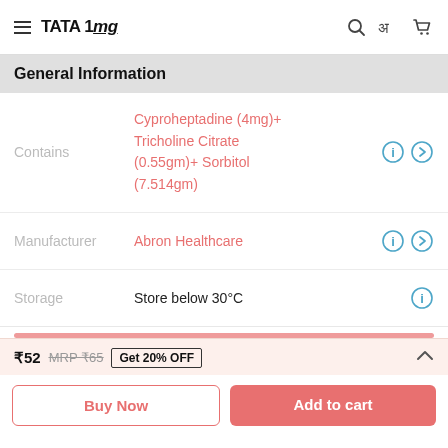TATA 1mg
General Information
| Field | Value |
| --- | --- |
| Contains | Cyproheptadine (4mg)+ Tricholine Citrate (0.55gm)+ Sorbitol (7.514gm) |
| Manufacturer | Abron Healthcare |
| Storage | Store below 30°C |
₹52  MRP ₹65  Get 20% OFF
Buy Now  Add to cart